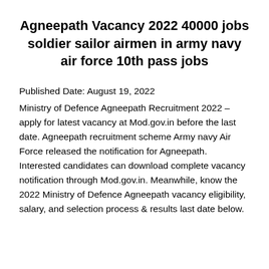Agneepath Vacancy 2022 40000 jobs soldier sailor airmen in army navy air force 10th pass jobs
Published Date: August 19, 2022
Ministry of Defence Agneepath Recruitment 2022 – apply for latest vacancy at Mod.gov.in before the last date. Agneepath recruitment scheme Army navy Air Force released the notification for Agneepath. Interested candidates can download complete vacancy notification through Mod.gov.in. Meanwhile, know the 2022 Ministry of Defence Agneepath vacancy eligibility, salary, and selection process & results last date below.